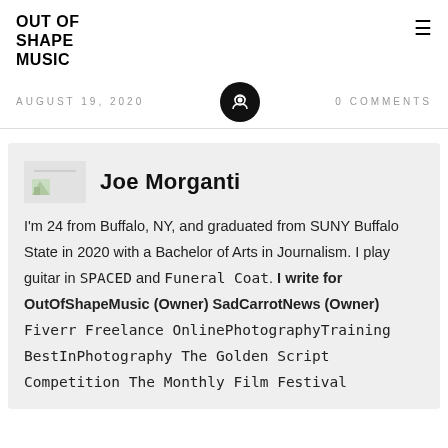OUT OF SHAPE MUSIC
AUGUST 19, 2020    0 Comments
Joe Morganti
I'm 24 from Buffalo, NY, and graduated from SUNY Buffalo State in 2020 with a Bachelor of Arts in Journalism. I play guitar in SPACED and Funeral Coat. I write for OutOfShapeMusic (Owner) SadCarrotNews (Owner) Fiverr Freelance OnlinePhotographyTraining BestInPhotography The Golden Script Competition The Monthly Film Festival